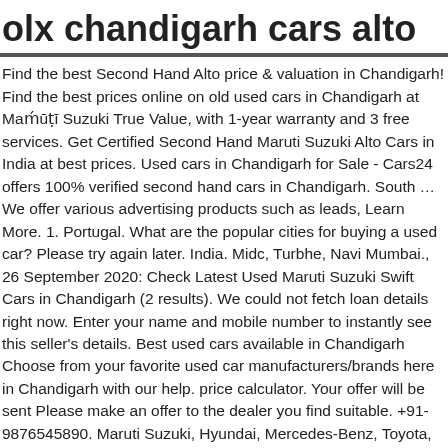olx chandigarh cars alto
Find the best Second Hand Alto price & valuation in Chandigarh! Find the best prices online on old used cars in Chandigarh at Maruti Suzuki True Value, with 1-year warranty and 3 free services. Get Certified Second Hand Maruti Suzuki Alto Cars in India at best prices. Used cars in Chandigarh for Sale - Cars24 offers 100% verified second hand cars in Chandigarh. South … We offer various advertising products such as leads, Learn More. 1. Portugal. What are the popular cities for buying a used car? Please try again later. India. Midc, Turbhe, Navi Mumbai., 26 September 2020: Check Latest Used Maruti Suzuki Swift Cars in Chandigarh (2 results). We could not fetch loan details right now. Enter your name and mobile number to instantly see this seller's details. Best used cars available in Chandigarh Choose from your favorite used car manufacturers/brands here in Chandigarh with our help. price calculator. Your offer will be sent Please make an offer to the dealer you find suitable. +91-9876545890. Maruti Suzuki, Hyundai, Mercedes-Benz, Toyota, Honda, Audi, Tata are popular brands in Chandigarh. Tip: Do not give advance money to any seller without inspecting the car physically. Great prices on old cars for sale in Chandigarh at CarWale. We won't support this browser soon. Join the millions who buy and sell from each